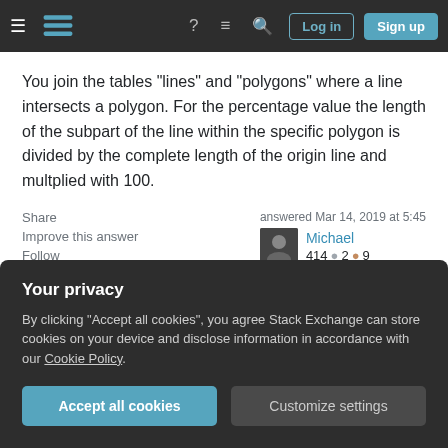Stack Exchange navigation bar with hamburger menu, logo, help, inbox, search icons, Log in and Sign up buttons
You join the tables "lines" and "polygons" where a line intersects a polygon. For the percentage value the length of the subpart of the line within the specific polygon is divided by the complete length of the origin line and multplied with 100.
Share  Improve this answer  Follow  answered Mar 14, 2019 at 5:45
Michael  414  2  9
2  The questioner hasn't mentioned PostGIS and this can
Your privacy
By clicking "Accept all cookies", you agree Stack Exchange can store cookies on your device and disclose information in accordance with our Cookie Policy.
Accept all cookies  Customize settings